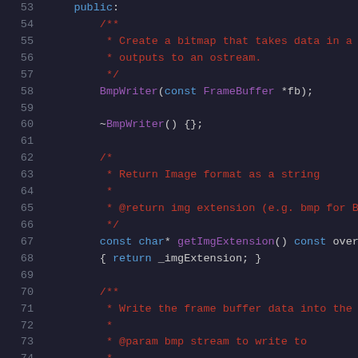Source code listing lines 53-74, C++ class BmpWriter with comments and method declarations